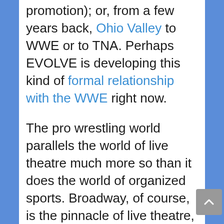promotion); or, from a few years back, Ohio Valley to WWE or to TNA. Perhaps EVOLVE is developing this kind of formal relationship with the WWE right now.

The pro wrestling world parallels the world of live theatre much more so than it does the world of organized sports. Broadway, of course, is the pinnacle of live theatre, but there are numerous tiers underneath – from Off Broadway all the way down to small town community theatre and local high school theatre. Live theatre, like wrestling, varies by venue size; talent of the performers; whether or not the performers are paid, and if so, how